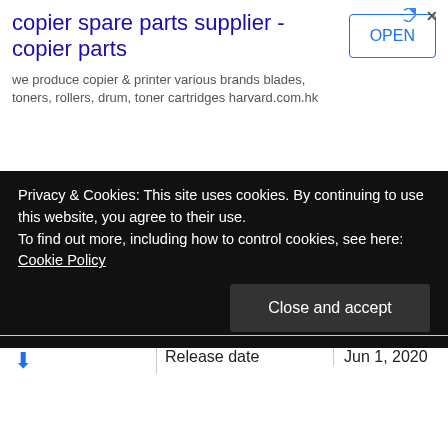[Figure (screenshot): Advertisement banner for copier spare parts supplier with title, subtitle, and OPEN button]
|  | Description |  |
| --- | --- | --- |
|  | Description | HP Print and Scan doctor is designed by HP for troubleshooting and troubleshooting features, which are needed to solve common problems with HP print and scan products that are connected to Windows-based |
|  | Release date | Jun 1, 2020 |
Privacy & Cookies: This site uses cookies. By continuing to use this website, you agree to their use. To find out more, including how to control cookies, see here: Cookie Policy
Close and accept